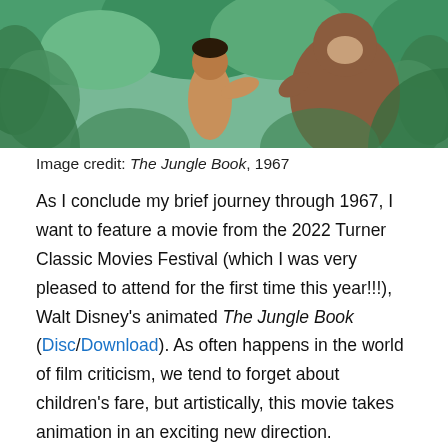[Figure (illustration): Animation still from The Jungle Book (1967) showing Mowgli and Baloo among jungle foliage]
Image credit: The Jungle Book, 1967
As I conclude my brief journey through 1967, I want to feature a movie from the 2022 Turner Classic Movies Festival (which I was very pleased to attend for the first time this year!!!), Walt Disney's animated The Jungle Book (Disc/Download). As often happens in the world of film criticism, we tend to forget about children's fare, but artistically, this movie takes animation in an exciting new direction. Revolution by dancing animals (and not the live ones that peed all over the Doctor Dolittle sets).
Based on the stories by Rudyard Kipling, The Jungle Book